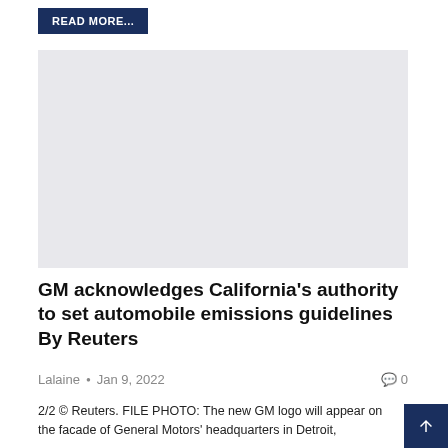READ MORE...
[Figure (photo): Placeholder image for GM article — light gray rectangle]
GM acknowledges California’s authority to set automobile emissions guidelines By Reuters
Lalaine • Jan 9, 2022 ♢ 0
2/2 © Reuters. FILE PHOTO: The new GM logo will appear on the facade of General Motors’ headquarters in Detroit,